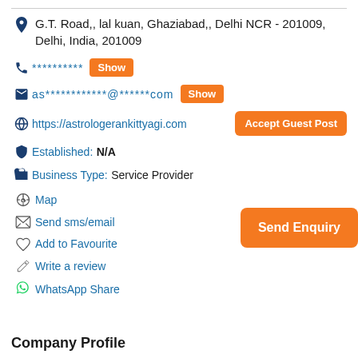G.T. Road,, lal kuan, Ghaziabad,, Delhi NCR - 201009, Delhi, India, 201009
**********  Show
as************@******com  Show
https://astrologerankittyagi.com  Accept Guest Post
Established: N/A
Business Type: Service Provider
Map
Send sms/email
Add to Favourite
Write a review
WhatsApp Share
Company Profile